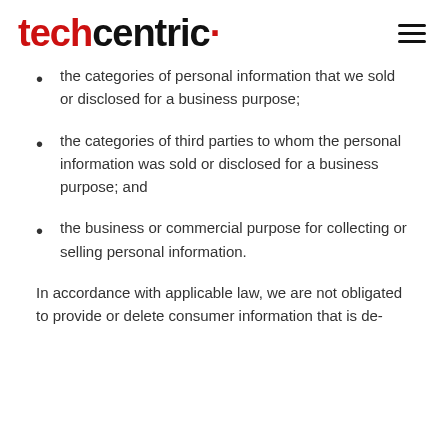techcentric
the categories of personal information that we sold or disclosed for a business purpose;
the categories of third parties to whom the personal information was sold or disclosed for a business purpose; and
the business or commercial purpose for collecting or selling personal information.
In accordance with applicable law, we are not obligated to provide or delete consumer information that is de-